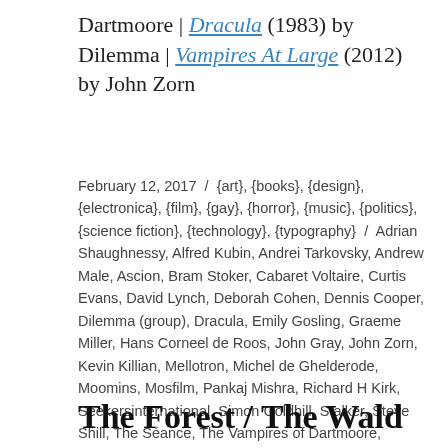Dartmoore | Dracula (1983) by Dilemma | Vampires At Large (2012) by John Zorn
February 12, 2017 / {art}, {books}, {design}, {electronica}, {film}, {gay}, {horror}, {music}, {politics}, {science fiction}, {technology}, {typography} / Adrian Shaughnessy, Alfred Kubin, Andrei Tarkovsky, Andrew Male, Ascion, Bram Stoker, Cabaret Voltaire, Curtis Evans, David Lynch, Deborah Cohen, Dennis Cooper, Dilemma (group), Dracula, Emily Gosling, Graeme Miller, Hans Corneel de Roos, John Gray, John Zorn, Kevin Killian, Mellotron, Michel de Ghelderode, Moomins, Mosfilm, Pankaj Mishra, Richard H Kirk, Seekersinternational, Simon Goldhill, Stalker, Steve Shill, The Séance, The Vampires of Dartmoore, Tinariwen, Tom of Finland, Tove Jansson, Václav Havel, White Noise / 3 Comments
The Forest / The Wald